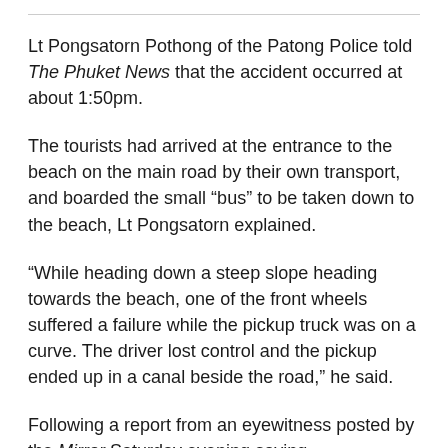Lt Pongsatorn Pothong of the Patong Police told The Phuket News that the accident occurred at about 1:50pm.
The tourists had arrived at the entrance to the beach on the main road by their own transport, and boarded the small “bus” to be taken down to the beach, Lt Pongsatorn explained.
“While heading down a steep slope heading towards the beach, one of the front wheels suffered a failure while the pickup truck was on a curve. The driver lost control and the pickup ended up in a canal beside the road,” he said.
Following a report from an eyewitness posted by the Mirror Saturday evening saying “Holidaymakers were rescued from the scene side by which a…